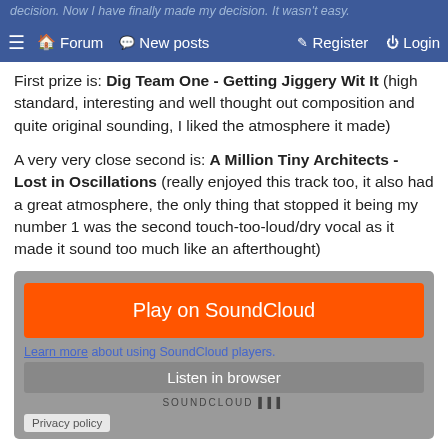≡  🏠 Forum  💬 New posts    ✎ Register  ⏻ Login
First prize is: Dig Team One - Getting Jiggery Wit It (high standard, interesting and well thought out composition and quite original sounding, I liked the atmosphere it made)
A very very close second is: A Million Tiny Architects - Lost in Oscillations (really enjoyed this track too, it also had a great atmosphere, the only thing that stopped it being my number 1 was the second touch-too-loud/dry vocal as it made it sound too much like an afterthought)
[Figure (other): SoundCloud embedded player widget with orange Play on SoundCloud button, Learn more about using SoundCloud players link, Listen in browser button, SOUNDCLOUD logo, and Privacy policy button]
Third is The Quixotes - Cockfosters PUA (thought this track